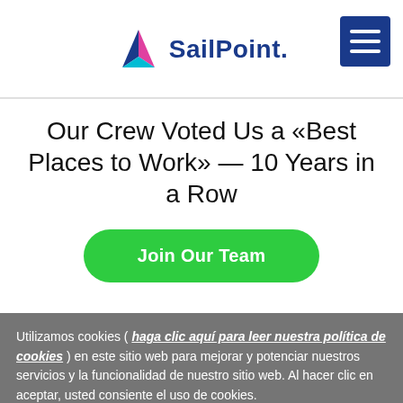[Figure (logo): SailPoint logo with triangular sail icon in blue, pink, and teal, followed by bold 'SailPoint.' wordmark in dark navy]
Our Crew Voted Us a «Best Places to Work» — 10 Years in a Row
[Figure (other): Green rounded rectangle button with white bold text 'Join Our Team']
Utilizamos cookies ( haga clic aquí para leer nuestra política de cookies ) en este sitio web para mejorar y potenciar nuestros servicios y la funcionalidad de nuestro sitio web. Al hacer clic en aceptar, usted consiente el uso de cookies.
Configuración de cookies
Aceptar cookies